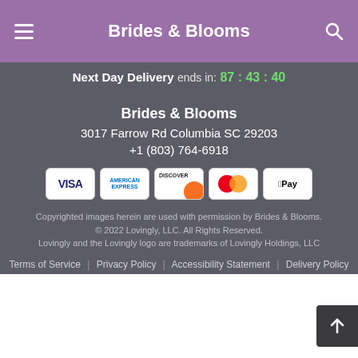Brides & Blooms
Next Day Delivery ends in: 87 : 43 : 40
Brides & Blooms
3017 Farrow Rd Columbia SC 29203
+1 (803) 764-6918
[Figure (infographic): Payment method icons: VISA, American Express, Discover, Mastercard, Apple Pay]
Copyrighted images herein are used with permission by Brides & Blooms.
© 2022 Lovingly, LLC. All Rights Reserved.
Lovingly and the Lovingly logo are trademarks of Lovingly Holdings, LLC
Terms of Service | Privacy Policy | Accessibility Statement | Delivery Policy